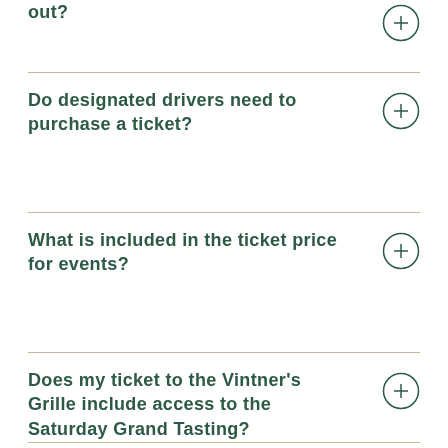out?
Do designated drivers need to purchase a ticket?
What is included in the ticket price for events?
Does my ticket to the Vintner's Grille include access to the Saturday Grand Tasting?